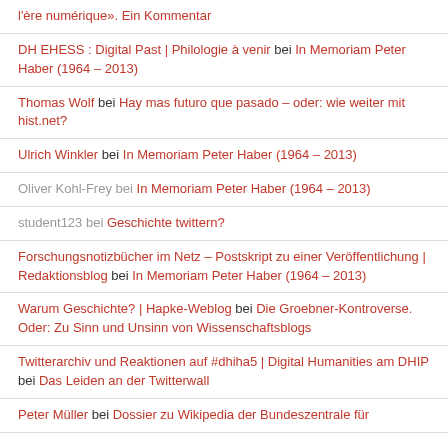l'ère numérique». Ein Kommentar
DH EHESS : Digital Past | Philologie à venir bei In Memoriam Peter Haber (1964 – 2013)
Thomas Wolf bei Hay mas futuro que pasado – oder: wie weiter mit hist.net?
Ulrich Winkler bei In Memoriam Peter Haber (1964 – 2013)
Oliver Kohl-Frey bei In Memoriam Peter Haber (1964 – 2013)
student123 bei Geschichte twittern?
Forschungsnotizbücher im Netz – Postskript zu einer Veröffentlichung | Redaktionsblog bei In Memoriam Peter Haber (1964 – 2013)
Warum Geschichte? | Hapke-Weblog bei Die Groebner-Kontroverse. Oder: Zu Sinn und Unsinn von Wissenschaftsblogs
Twitterarchiv und Reaktionen auf #dhiha5 | Digital Humanities am DHIP bei Das Leiden an der Twitterwall
Peter Müller bei Dossier zu Wikipedia der Bundeszentrale für